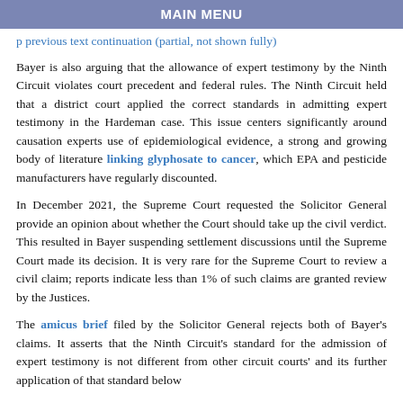MAIN MENU
p previous text continuation (partial line)
Bayer is also arguing that the allowance of expert testimony by the Ninth Circuit violates court precedent and federal rules. The Ninth Circuit held that a district court applied the correct standards in admitting expert testimony in the Hardeman case. This issue centers significantly around causation experts use of epidemiological evidence, a strong and growing body of literature linking glyphosate to cancer, which EPA and pesticide manufacturers have regularly discounted.
In December 2021, the Supreme Court requested the Solicitor General provide an opinion about whether the Court should take up the civil verdict. This resulted in Bayer suspending settlement discussions until the Supreme Court made its decision. It is very rare for the Supreme Court to review a civil claim; reports indicate less than 1% of such claims are granted review by the Justices.
The amicus brief filed by the Solicitor General rejects both of Bayer's claims. It asserts that the Ninth Circuit's standard for the admission of expert testimony is not different from other circuit courts' and its further application of that standard below...